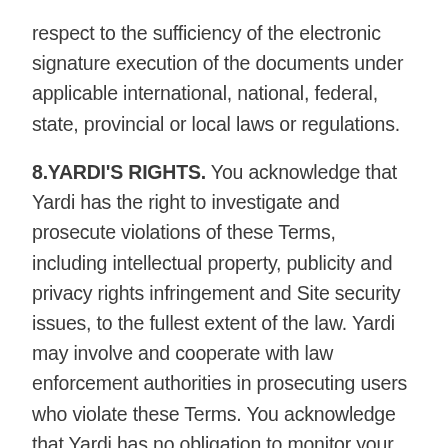respect to the sufficiency of the electronic signature execution of the documents under applicable international, national, federal, state, provincial or local laws or regulations.
8.YARDI'S RIGHTS. You acknowledge that Yardi has the right to investigate and prosecute violations of these Terms, including intellectual property, publicity and privacy rights infringement and Site security issues, to the fullest extent of the law. Yardi may involve and cooperate with law enforcement authorities in prosecuting users who violate these Terms. You acknowledge that Yardi has no obligation to monitor your access to or use of the Site or the Services, but has the right to do so for the purpose of operating the Site, to ensure your compliance with these Terms or to comply with applicable law or the order or requirement of